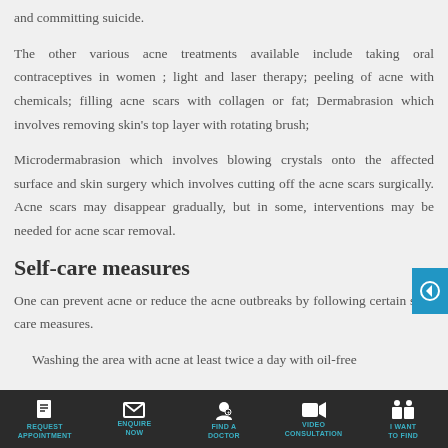and committing suicide.
The other various acne treatments available include taking oral contraceptives in women ; light and laser therapy; peeling of acne with chemicals; filling acne scars with collagen or fat; Dermabrasion which involves removing skin's top layer with rotating brush;
Microdermabrasion which involves blowing crystals onto the affected surface and skin surgery which involves cutting off the acne scars surgically. Acne scars may disappear gradually, but in some, interventions may be needed for acne scar removal.
Self-care measures
One can prevent acne or reduce the acne outbreaks by following certain self-care measures.
Washing the area with acne at least twice a day with oil-free
REQUEST APPOINTMENT | ENQUIRE NOW | FIND A DOCTOR | VIDEO CONSULTATION | I WANT TO FIND